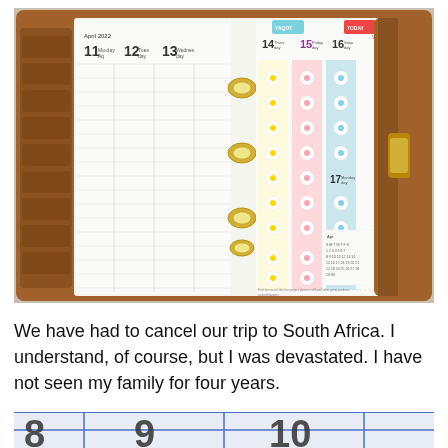[Figure (photo): Open leather-bound personal planner/organizer showing weekly pages for April 2022, days 11-16 with daisy sticker decorations on the right page. The planner has gold ring binders and a tan leather cover.]
We have had to cancel our trip to South Africa.  I understand, of course, but I was devastated. I have not seen my family for four years.
[Figure (photo): Partial view of another planner page with blue grid lines and large handwritten numbers visible at the bottom of the page.]